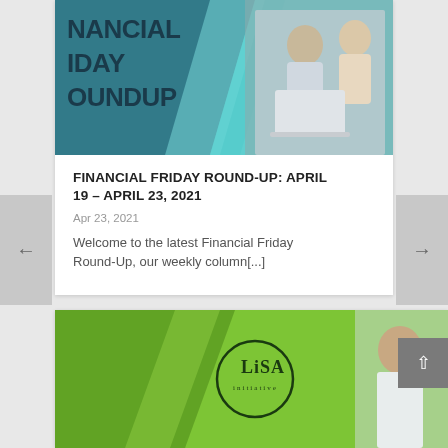[Figure (photo): Banner image showing two elderly people looking at a laptop, with a teal/cyan background and 'FINANCIAL FRIDAY ROUNDUP' text overlay]
FINANCIAL FRIDAY ROUND-UP: APRIL 19 – APRIL 23, 2021
Apr 23, 2021
Welcome to the latest Financial Friday Round-Up, our weekly column[...]
[Figure (photo): Green banner with 'LiSA Initiative' logo and a smiling man on the right side]